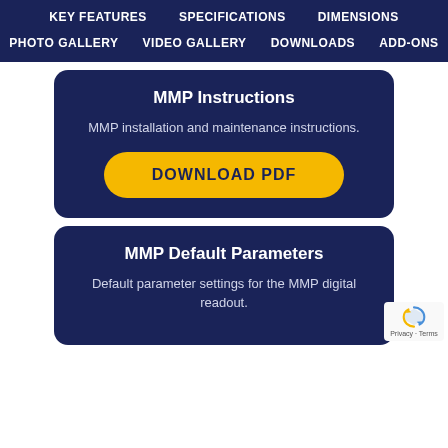KEY FEATURES   SPECIFICATIONS   DIMENSIONS
PHOTO GALLERY   VIDEO GALLERY   DOWNLOADS   ADD-ONS
MMP Instructions
MMP installation and maintenance instructions.
DOWNLOAD PDF
MMP Default Parameters
Default parameter settings for the MMP digital readout.